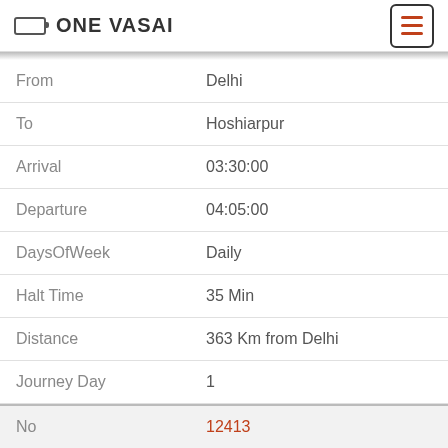ONE VASAI
| Field | Value |
| --- | --- |
| From | Delhi |
| To | Hoshiarpur |
| Arrival | 03:30:00 |
| Departure | 04:05:00 |
| DaysOfWeek | Daily |
| Halt Time | 35 Min |
| Distance | 363 Km from Delhi |
| Journey Day | 1 |
| No | 12413 |
| Name | ajmer - Jammu Tawi Express (JRC) |
| From | Ajmer Junction |